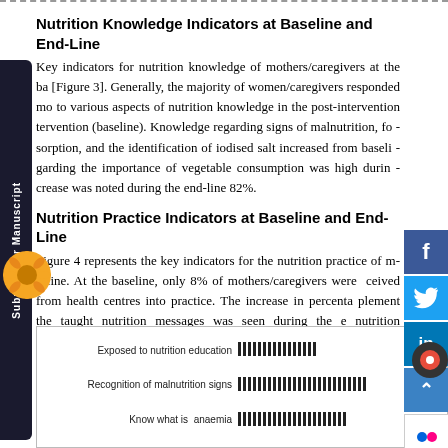Nutrition Knowledge Indicators at Baseline and End-Line
Key indicators for nutrition knowledge of mothers/caregivers at the ba... [Figure 3]. Generally, the majority of women/caregivers responded mo... to various aspects of nutrition knowledge in the post-intervention ... tervention (baseline). Knowledge regarding signs of malnutrition, fo... sorption, and the identification of iodised salt increased from baseli... garding the importance of vegetable consumption was high durin... crease was noted during the end-line 82%.
Nutrition Practice Indicators at Baseline and End-Line
Figure 4 represents the key indicators for the nutrition practice of m... d-line. At the baseline, only 8% of mothers/caregivers were ... ceived from health centres into practice. The increase in percenta... plement the taught nutrition messages was seen during the e... nutrition education intervention. Almost half (54%) of mothers/careg...
[Figure (bar-chart): Figure 4 – Nutrition practice indicators]